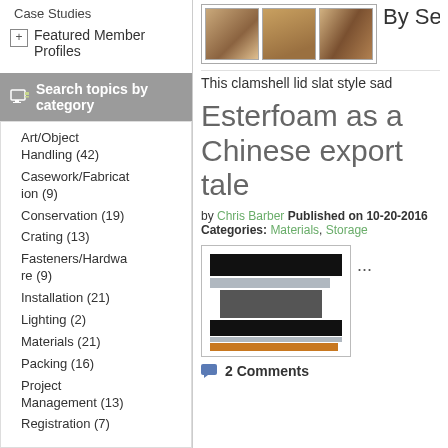Case Studies
Featured Member Profiles
Search topics by category
Art/Object Handling (42)
Casework/Fabrication (9)
Conservation (19)
Crating (13)
Fasteners/Hardware (9)
Installation (21)
Lighting (2)
Materials (21)
Packing (16)
Project Management (13)
Registration (7)
[Figure (photo): Three thumbnail images of cardboard/clamshell boxes]
By Sea
This clamshell lid slat style sad
Esterfoam as a Chinese export tale
by Chris Barber Published on 10-20-2016 Categories: Materials, Storage
[Figure (photo): Image of foam layers - black top bar, grey middle bar, dark rectangle, black bar, orange/brown bottom strip]
...
2 Comments